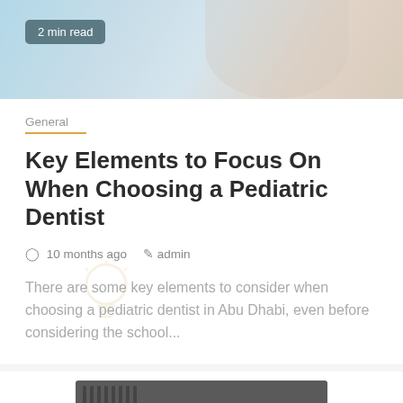[Figure (photo): Top portion of a medical/dental themed photo showing a person in light blue scrubs, partially cropped. A '2 min read' badge overlaid on image.]
General
Key Elements to Focus On When Choosing a Pediatric Dentist
10 months ago   admin
There are some key elements to consider when choosing a pediatric dentist in Abu Dhabi, even before considering the school...
[Figure (photo): Bottom card showing a yellow and grey industrial Atlas Copco XRV compressor machine, partially visible. A gold/yellow scroll-to-top arrow button in bottom right corner.]